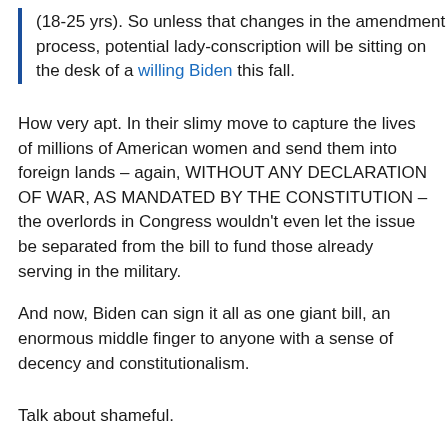(18-25 yrs). So unless that changes in the amendment process, potential lady-conscription will be sitting on the desk of a willing Biden this fall.
How very apt. In their slimy move to capture the lives of millions of American women and send them into foreign lands – again, WITHOUT ANY DECLARATION OF WAR, AS MANDATED BY THE CONSTITUTION – the overlords in Congress wouldn't even let the issue be separated from the bill to fund those already serving in the military.
And now, Biden can sign it all as one giant bill, an enormous middle finger to anyone with a sense of decency and constitutionalism.
Talk about shameful.